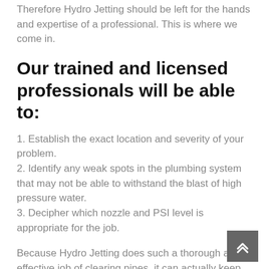Therefore Hydro Jetting should be left for the hands and expertise of a professional. This is where we come in.
Our trained and licensed professionals will be able to:
1. Establish the exact location and severity of your problem.
2. Identify any weak spots in the plumbing system that may not be able to withstand the blast of high pressure water.
3. Decipher which nozzle and PSI level is appropriate for the job.
Because Hydro Jetting does such a thorough and effective job of clearing pipes, it can actually keep your pipes clean for several years, reducing your costs over time. It does